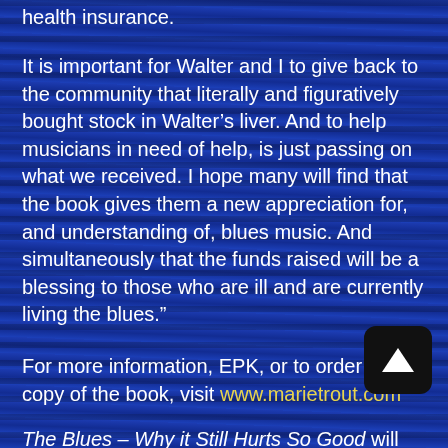health insurance.
It is important for Walter and I to give back to the community that literally and figuratively bought stock in Walter’s liver. And to help musicians in need of help, is just passing on what we received. I hope many will find that the book gives them a new appreciation for, and understanding of, blues music. And simultaneously that the funds raised will be a blessing to those who are ill and are currently living the blues.”
For more information, EPK, or to order a copy of the book, visit www.marietrout.com
The Blues – Why it Still Hurts So Good will be available for sale in paperback as well as Kindle/eBook on